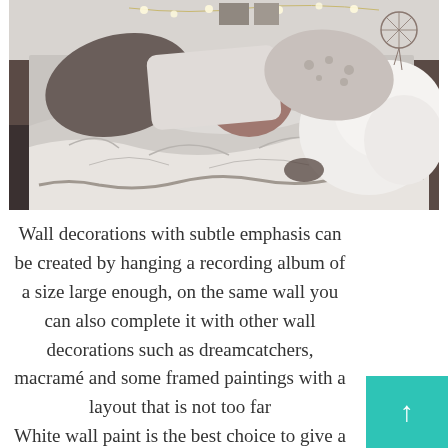[Figure (photo): Bedroom photo showing a bed with rumpled grey/white bedding, multiple pillows including dark grey and round mauve pillows, a fluffy white blanket on the right side, string lights visible at top, and wall decorations including what appears to be a dreamcatcher in the upper right.]
Wall decorations with subtle emphasis can be created by hanging a recording album of a size large enough, on the same wall you can also complete it with other wall decorations such as dreamcatchers, macramé and some framed paintings with a layout that is not too far. White wall paint is the best choice to give a